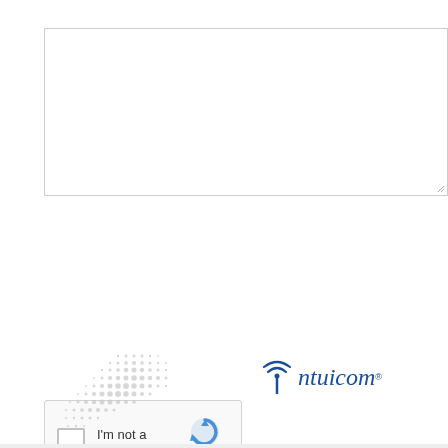[Figure (screenshot): Empty textarea input box with resize handle at bottom right]
[Figure (screenshot): reCAPTCHA widget with checkbox and 'I'm not a robot' label, reCAPTCHA logo, Privacy and Terms links]
CREATE COMMENT
RESET
[Figure (illustration): Decorative dot pattern illustration in grey/light tones]
[Figure (logo): Intuicom logo with antenna icon and italic blue text 'Intuicom' with registered trademark symbol]